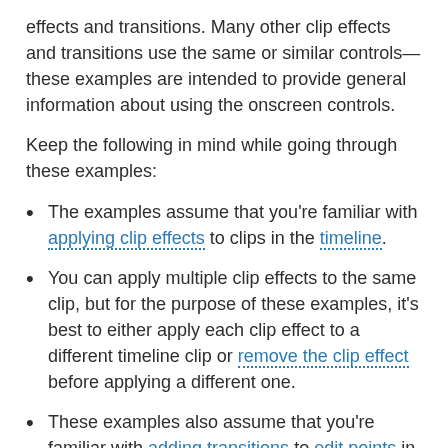effects and transitions. Many other clip effects and transitions use the same or similar controls—these examples are intended to provide general information about using the onscreen controls.
Keep the following in mind while going through these examples:
The examples assume that you're familiar with applying clip effects to clips in the timeline.
You can apply multiple clip effects to the same clip, but for the purpose of these examples, it's best to either apply each clip effect to a different timeline clip or remove the clip effect before applying a different one.
These examples also assume that you're familiar with adding transitions to edit points in the timeline.